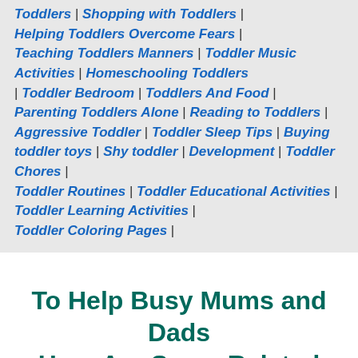Toddlers | Shopping with Toddlers | Helping Toddlers Overcome Fears | Teaching Toddlers Manners | Toddler Music Activities | Homeschooling Toddlers | Toddler Bedroom | Toddlers And Food | Parenting Toddlers Alone | Reading to Toddlers | Aggressive Toddler | Toddler Sleep Tips | Buying toddler toys | Shy toddler | Development | Toddler Chores | Toddler Routines | Toddler Educational Activities | Toddler Learning Activities | Toddler Coloring Pages |
To Help Busy Mums and Dads Here Are Some Related